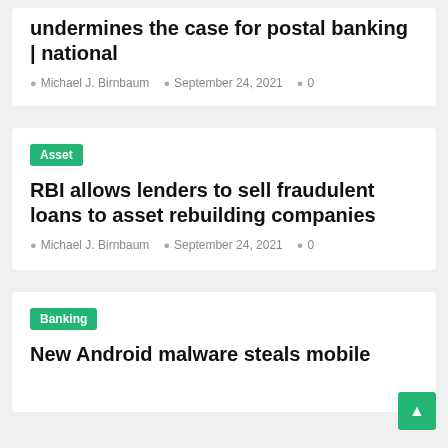undermines the case for postal banking | national
Michael J. Birnbaum  ·  September 24, 2021  ·  0
Asset
RBI allows lenders to sell fraudulent loans to asset rebuilding companies
Michael J. Birnbaum  ·  September 24, 2021  ·  0
Banking
New Android malware steals mobile